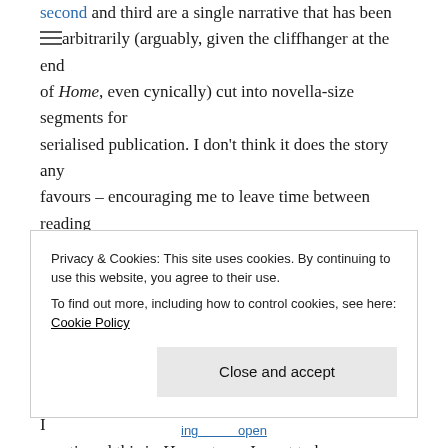second and third are a single narrative that has been arbitrarily (arguably, given the cliffhanger at the end of Home, even cynically) cut into novella-size segments for serialised publication. I don't think it does the story any favours – encouraging me to leave time between reading one segment and the next hasn't helped my engagement or my recall.

My second issue is how much time Binti spends fighting herself and moping about how awful her situation is. I mentioned this in Home, too – I want to be sympathetic to a girl who is, after all, quite young and who has been through some very traumatic experiences. But she's also an
Privacy & Cookies: This site uses cookies. By continuing to use this website, you agree to their use.
To find out more, including how to control cookies, see here: Cookie Policy
Close and accept